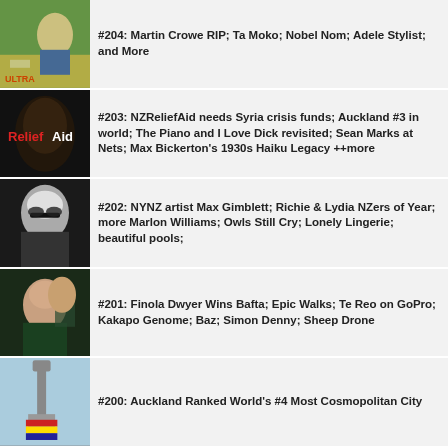#204: Martin Crowe RIP; Ta Moko; Nobel Nom; Adele Stylist; and More
#203: NZReliefAid needs Syria crisis funds; Auckland #3 in world; The Piano and I Love Dick revisited; Sean Marks at Nets; Max Bickerton's 1930s Haiku Legacy ++more
#202: NYNZ artist Max Gimblett; Richie & Lydia NZers of Year; more Marlon Williams; Owls Still Cry; Lonely Lingerie; beautiful pools;
#201: Finola Dwyer Wins Bafta; Epic Walks; Te Reo on GoPro; Kakapo Genome; Baz; Simon Denny; Sheep Drone
#200: Auckland Ranked World's #4 Most Cosmopolitan City